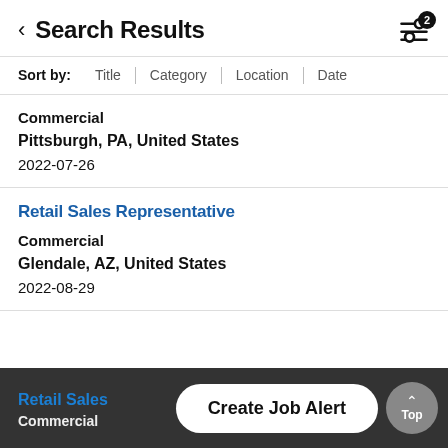< Search Results
Sort by: Title | Category | Location | Date
Commercial
Pittsburgh, PA, United States
2022-07-26
Retail Sales Representative
Commercial
Glendale, AZ, United States
2022-08-29
Retail Sales
Commercial
Create Job Alert